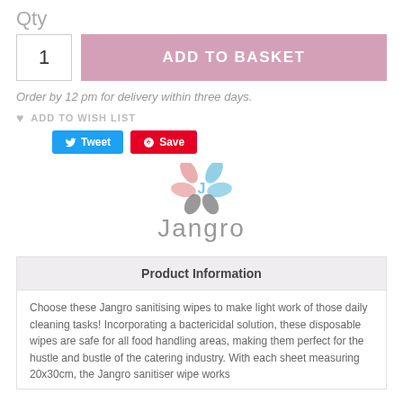Qty
1
ADD TO BASKET
Order by 12 pm for delivery within three days.
ADD TO WISH LIST
Tweet
Save
[Figure (logo): Jangro logo with colorful swirl icon above the text 'Jangro' in grey]
Product Information
Choose these Jangro sanitising wipes to make light work of those daily cleaning tasks! Incorporating a bactericidal solution, these disposable wipes are safe for all food handling areas, making them perfect for the hustle and bustle of the catering industry. With each sheet measuring 20x30cm, the Jangro sanitiser wipe works